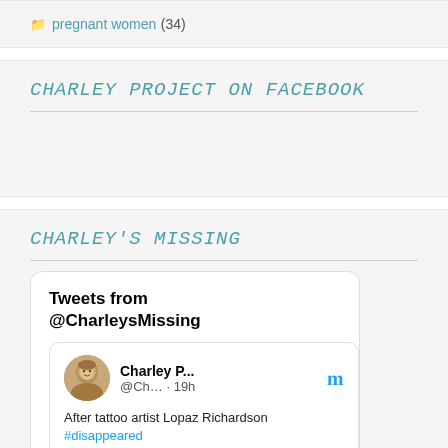pregnant women (34)
CHARLEY PROJECT ON FACEBOOK
CHARLEY'S MISSING
[Figure (screenshot): Twitter/X widget showing 'Tweets from @CharleysMissing' header, with a tweet from 'Charley P...' (@Ch... · 19h) with avatar photo of a child, Twitter bird icon, and tweet text beginning 'After tattoo artist Lopaz Richardson #disappeared']